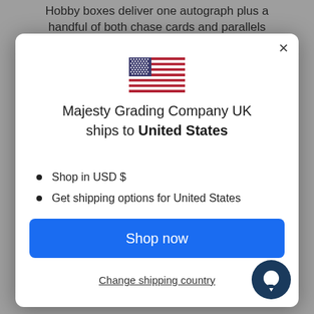Hobby boxes deliver one autograph plus a handful of both chase cards and parallels
[Figure (illustration): US flag emoji/icon]
Majesty Grading Company UK ships to United States
Shop in USD $
Get shipping options for United States
Shop now
Change shipping country
[Figure (illustration): Chat bubble icon, dark navy circle with white chat bubble]